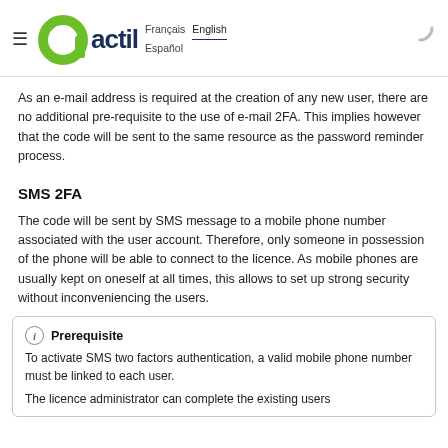actil — Français English Español
As an e-mail address is required at the creation of any new user, there are no additional pre-requisite to the use of e-mail 2FA. This implies however that the code will be sent to the same resource as the password reminder process.
SMS 2FA
The code will be sent by SMS message to a mobile phone number associated with the user account. Therefore, only someone in possession of the phone will be able to connect to the licence. As mobile phones are usually kept on oneself at all times, this allows to set up strong security without inconveniencing the users.
Prerequisite
To activate SMS two factors authentication, a valid mobile phone number must be linked to each user.
The licence administrator can complete the existing users